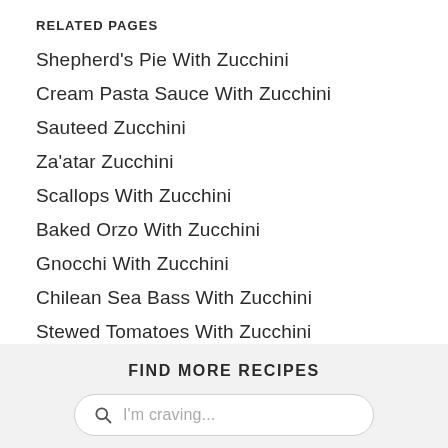RELATED PAGES
Shepherd's Pie With Zucchini
Cream Pasta Sauce With Zucchini
Sauteed Zucchini
Za'atar Zucchini
Scallops With Zucchini
Baked Orzo With Zucchini
Gnocchi With Zucchini
Chilean Sea Bass With Zucchini
Stewed Tomatoes With Zucchini
FIND MORE RECIPES
I'm craving...